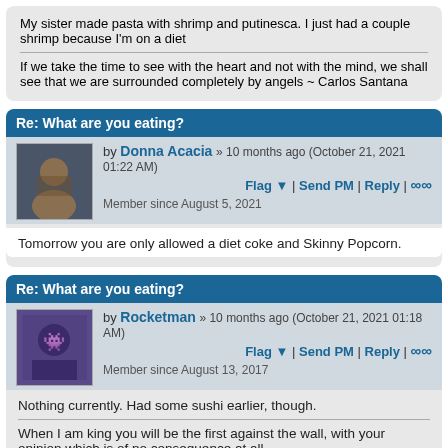My sister made pasta with shrimp and putinesca. I just had a couple shrimp because I'm on a diet
If we take the time to see with the heart and not with the mind, we shall see that we are surrounded completely by angels ~ Carlos Santana
Re: What are you eating?
by Donna Acacia » 10 months ago (October 21, 2021 01:22 AM)
Flag ▼ | Send PM | Reply | ∞
Member since August 5, 2021
Tomorrow you are only allowed a diet coke and Skinny Popcorn.
Re: What are you eating?
by Rocketman » 10 months ago (October 21, 2021 01:18 AM)
Flag ▼ | Send PM | Reply | ∞
Member since August 13, 2017
Nothing currently. Had some sushi earlier, though.
When I am king you will be the first against the wall, with your opinion which is of no consequence at all.
Re: What are you eating?